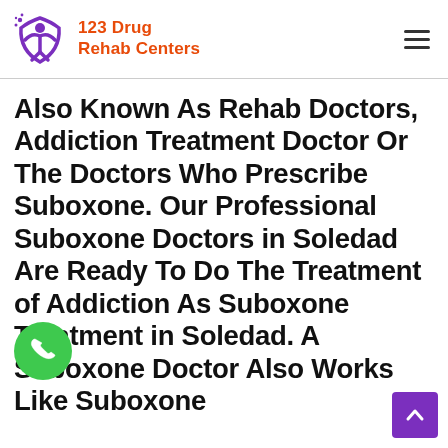123 Drug Rehab Centers
Also Known As Rehab Doctors, Addiction Treatment Doctor Or The Doctors Who Prescribe Suboxone. Our Professional Suboxone Doctors in Soledad Are Ready To Do The Treatment of Addiction As Suboxone Treatment in Soledad. A Suboxone Doctor Also Works Like Suboxone